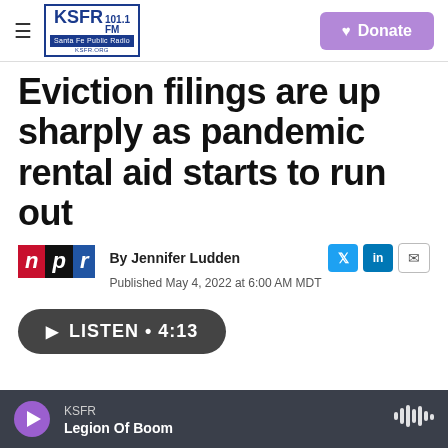[Figure (logo): KSFR 101.1 FM Santa Fe Public Radio logo with blue border]
[Figure (logo): Purple Donate button with heart icon]
Eviction filings are up sharply as pandemic rental aid starts to run out
[Figure (logo): NPR logo with red N, black P, blue R]
By Jennifer Ludden
Published May 4, 2022 at 6:00 AM MDT
LISTEN • 4:13
KSFR
Legion Of Boom